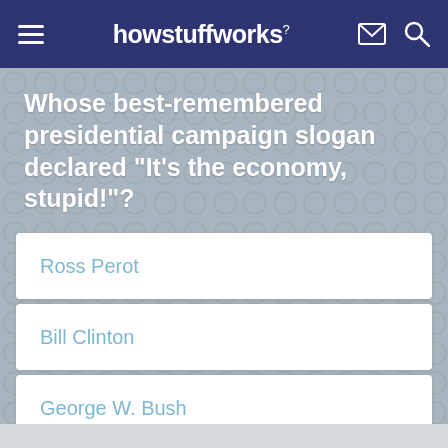howstuffworks
Whose best-remembered presidential campaign slogan declared "It's the economy, stupid!"?
Ross Perot
Bill Clinton
George W. Bush